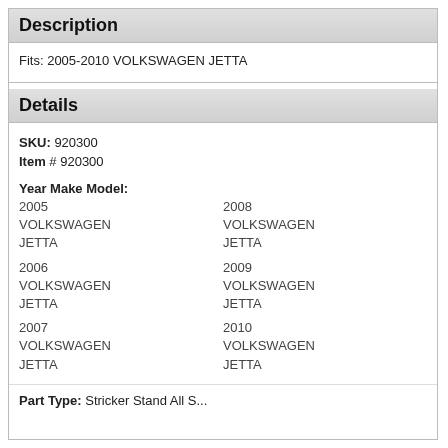Description
Fits: 2005-2010 VOLKSWAGEN JETTA
Details
SKU: 920300
Item # 920300
Year Make Model:
2005 VOLKSWAGEN JETTA
2006 VOLKSWAGEN JETTA
2007 VOLKSWAGEN JETTA
2008 VOLKSWAGEN JETTA
2009 VOLKSWAGEN JETTA
2010 VOLKSWAGEN JETTA
Part Type: Stricker Stand All S...